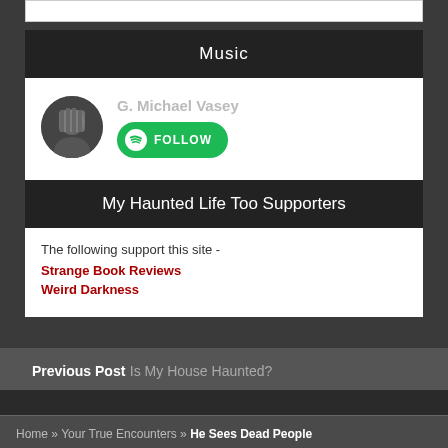Music
[Figure (illustration): Spotify follow widget showing G. Michael Vasey artist profile with circular avatar photo of a person covering their face, and a green Spotify FOLLOW button]
My Haunted Life Too Supporters
The following support this site -
Strange Book Reviews
Weird Darkness
Previous Post Is My House Haunted?
Home » Your True Encounters » He Sees Dead People